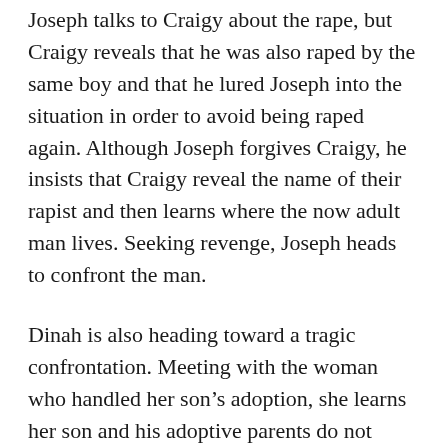Joseph talks to Craigy about the rape, but Craigy reveals that he was also raped by the same boy and that he lured Joseph into the situation in order to avoid being raped again. Although Joseph forgives Craigy, he insists that Craigy reveal the name of their rapist and then learns where the now adult man lives. Seeking revenge, Joseph heads to confront the man.
Dinah is also heading toward a tragic confrontation. Meeting with the woman who handled her son's adoption, she learns her son and his adoptive parents do not want to have any contact with her. In the past, the boy sent six letters over six months